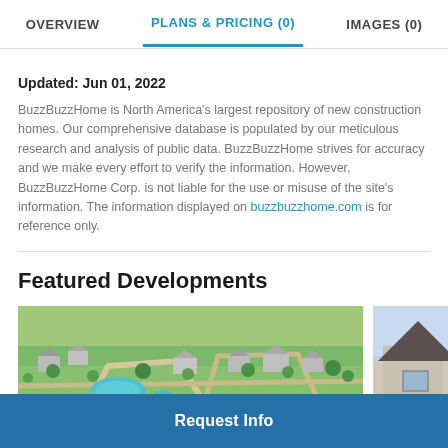OVERVIEW | PLANS & PRICING (0) | IMAGES (0)
Updated: Jun 01, 2022
BuzzBuzzHome is North America's largest repository of new construction homes. Our comprehensive database is populated by our meticulous research and analysis of public data. BuzzBuzzHome strives for accuracy and we make every effort to verify the information. However, BuzzBuzzHome Corp. is not liable for the use or misuse of the site's information. The information displayed on buzzbuzzhome.com is for reference only.
Featured Developments
[Figure (photo): Aerial view of a residential development with houses, green lawns, trees, a pool and water feature, roads and pathways]
[Figure (photo): Partial view of a house exterior against a blue sky]
Request Info